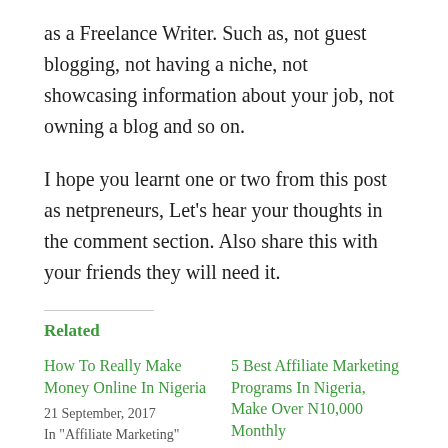as a Freelance Writer. Such as, not guest blogging, not having a niche, not showcasing information about your job, not owning a blog and so on.
I hope you learnt one or two from this post as netpreneurs, Let's hear your thoughts in the comment section. Also share this with your friends they will need it.
Related
How To Really Make Money Online In Nigeria
21 September, 2017
In "Affiliate Marketing"
5 Best Affiliate Marketing Programs In Nigeria, Make Over N10,000 Monthly
22 January, 2018
In "Affiliate Marketing"